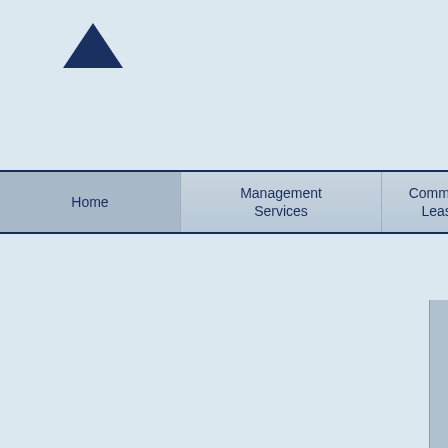[Figure (logo): Dark blue mountain/triangle logo shape in the upper left area of the page]
Home
Management Services
Commercial Leasing